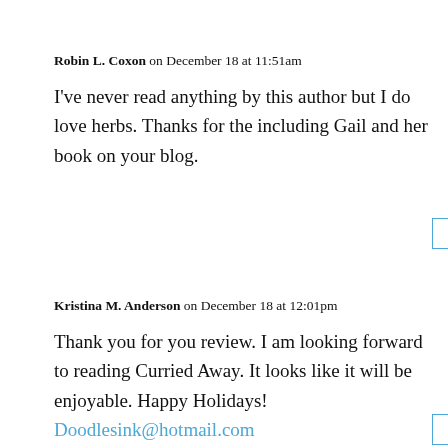Robin L. Coxon on December 18 at 11:51am
I've never read anything by this author but I do love herbs. Thanks for the including Gail and her book on your blog.
Reply
Kristina M. Anderson on December 18 at 12:01pm
Thank you for you review. I am looking forward to reading Curried Away. It looks like it will be enjoyable. Happy Holidays! Doodlesink@hotmail.com
Reply